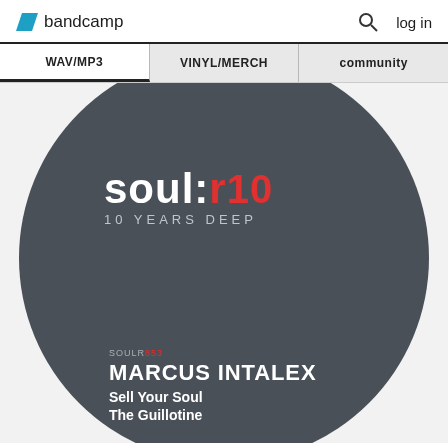bandcamp  log in
WAV/MP3
VINYL/MERCH
community
[Figure (illustration): Vinyl record label showing soul:r logo with '10 YEARS DEEP' tagline, catalog number SOULR853, artist MARCUS INTALEX, track titles 'Sell Your Soul' and 'The Guillotine']